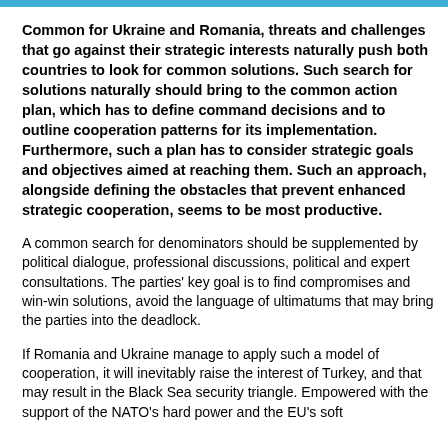Common for Ukraine and Romania, threats and challenges that go against their strategic interests naturally push both countries to look for common solutions. Such search for solutions naturally should bring to the common action plan, which has to define command decisions and to outline cooperation patterns for its implementation. Furthermore, such a plan has to consider strategic goals and objectives aimed at reaching them. Such an approach, alongside defining the obstacles that prevent enhanced strategic cooperation, seems to be most productive.
A common search for denominators should be supplemented by political dialogue, professional discussions, political and expert consultations. The parties' key goal is to find compromises and win-win solutions, avoid the language of ultimatums that may bring the parties into the deadlock.
If Romania and Ukraine manage to apply such a model of cooperation, it will inevitably raise the interest of Turkey, and that may result in the Black Sea security triangle. Empowered with the support of the NATO's hard power and the EU's soft